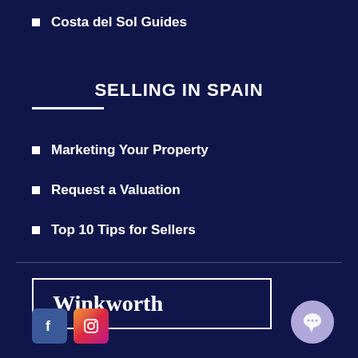Costa del Sol Guides
SELLING IN SPAIN
Marketing Your Property
Request a Valuation
Top 10 Tips for Sellers
[Figure (logo): Winkworth real estate logo — white serif text in a bordered box]
[Figure (infographic): Facebook icon (blue rounded square with white f) and Instagram icon (pink/red rounded square with camera outline), and a lavender chat bubble circle on the right]